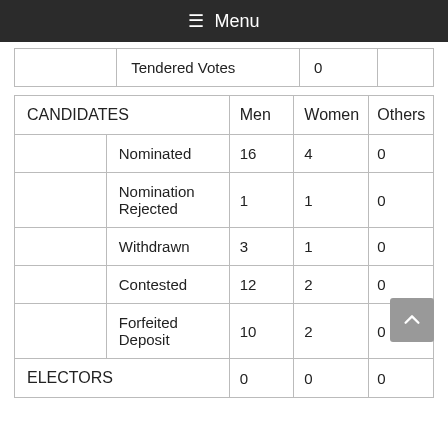Menu
|  | Tendered Votes | 0 |  |
| --- | --- | --- | --- |
| CANDIDATES |  | Men | Women | Others |
| --- | --- | --- | --- | --- |
|  | Nominated | 16 | 4 | 0 |
|  | Nomination Rejected | 1 | 1 | 0 |
|  | Withdrawn | 3 | 1 | 0 |
|  | Contested | 12 | 2 | 0 |
|  | Forfeited Deposit | 10 | 2 | 0 |
| ELECTORS |  | 0 | 0 | 0 |